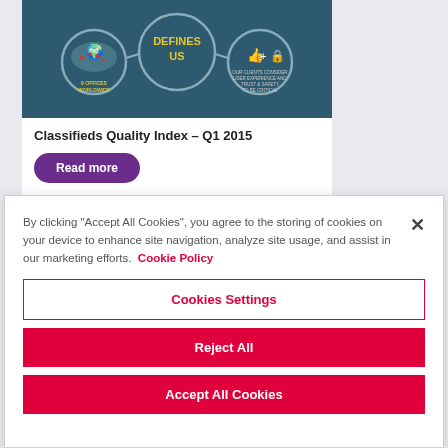[Figure (infographic): Partial view of an infographic card with dark teal background showing a world map with red location markers, circular bubbles with icons, and yellow text 'DEFINES US'. Card is on a light grey page background.]
Classifieds Quality Index – Q1 2015
Read more
By clicking "Accept All Cookies", you agree to the storing of cookies on your device to enhance site navigation, analyze site usage, and assist in our marketing efforts. Cookie Policy
Cookies Settings
Reject All
Accept All Cookies